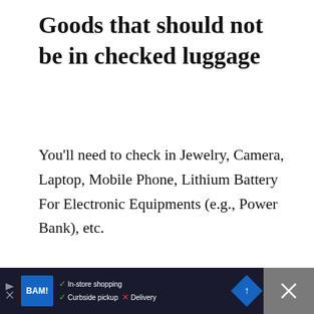Goods that should not be in checked luggage
You'll need to check in Jewelry, Camera, Laptop, Mobile Phone, Lithium Battery For Electronic Equipments (e.g., Power Bank), etc.
[Figure (other): Advertisement placeholder box with 'ADVERTISEMENT' label, heart/save button (black circle), and share button (white circle with share icon)]
[Figure (other): Bottom advertisement bar showing BAM! logo, checkmarks for 'In-store shopping' and 'Curbside pickup', X for 'Delivery', blue navigation icon, and X close button on dark/grey background]